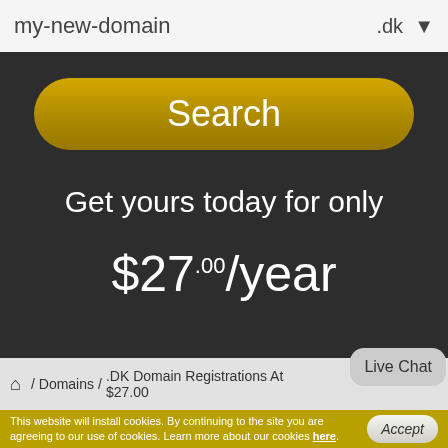[Figure (screenshot): Domain search input box with placeholder 'my-new-domain' and TLD selector showing '.dk' with dropdown arrow]
[Figure (screenshot): Golden rounded 'Search' button]
Get yours today for only
$27.00/year
/ Domains / .DK Domain Registrations At $27.00
[Figure (screenshot): Live Chat speech bubble overlay]
This website will install cookies. By continuing to the site you are agreeing to our use of cookies. Learn more about our cookies here.